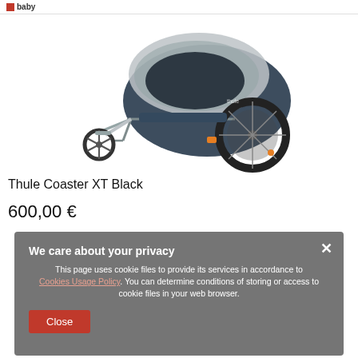baby
[Figure (photo): Thule Coaster XT Black child bike trailer/stroller with large wheel on right side and small front wheel on left, dark blue/grey color with grey canopy]
Thule Coaster XT Black
600,00 €
We care about your privacy
This page uses cookie files to provide its services in accordance to Cookies Usage Policy. You can determine conditions of storing or access to cookie files in your web browser.
Close